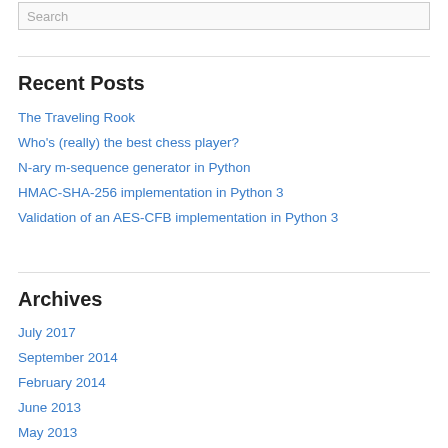Search
Recent Posts
The Traveling Rook
Who's (really) the best chess player?
N-ary m-sequence generator in Python
HMAC-SHA-256 implementation in Python 3
Validation of an AES-CFB implementation in Python 3
Archives
July 2017
September 2014
February 2014
June 2013
May 2013
March 2013